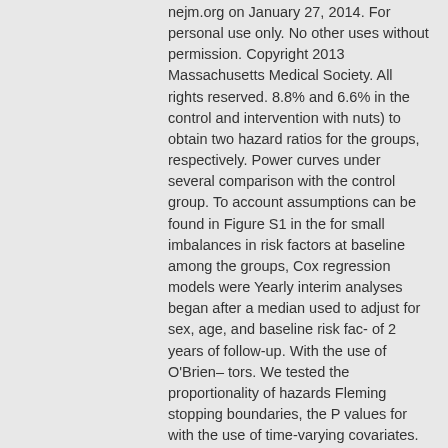nejm.org on January 27, 2014. For personal use only. No other uses without permission. Copyright 2013 Massachusetts Medical Society. All rights reserved. 8.8% and 6.6% in the control and intervention with nuts) to obtain two hazard ratios for the groups, respectively. Power curves under several comparison with the control group. To account assumptions can be found in Figure S1 in the for small imbalances in risk factors at baseline among the groups, Cox regression models were Yearly interim analyses began after a median used to adjust for sex, age, and baseline risk fac- of 2 years of follow-up. With the use of O'Brien– tors. We tested the proportionality of hazards Fleming stopping boundaries, the P values for with the use of time-varying covariates. All stopping the trial at each yearly interim analyses analyses were stratified according to center. Pre- were 5×10−6, 0.001, 0.009, and 0.02 for benefit specified subgroup analyses were conducted ac- and 9×10−5, 0.005, 0.02, and 0.05 for adverse ef- cording to sex, age, body-mass index (BMI), fects.18 The stopping boundary for the benefit of cardiovascular-risk-